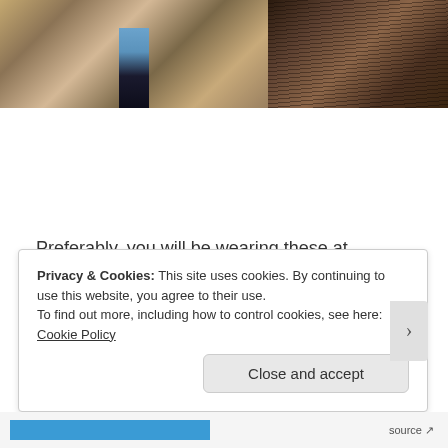[Figure (photo): Two cropped photos side by side: left shows a person in blue top and dark boots walking near a chain-link fence; right shows a close-up of a person with dark hair against a mesh background.]
Preferably, you will be wearing these at Coachella, but if you can't make it this year, (me neither, I know, what a bummer) here is an idea how you can wear them.
Privacy & Cookies: This site uses cookies. By continuing to use this website, you agree to their use.
To find out more, including how to control cookies, see here: Cookie Policy
Close and accept